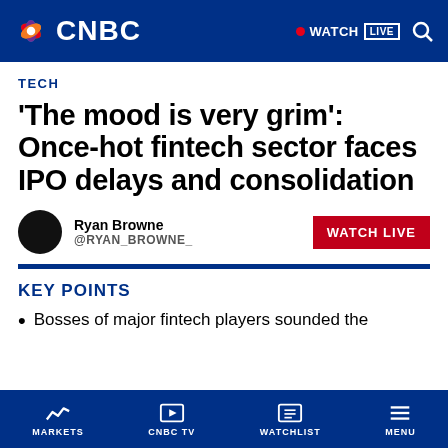CNBC — WATCH LIVE
TECH
'The mood is very grim': Once-hot fintech sector faces IPO delays and consolidation
Ryan Browne
@RYAN_BROWNE_
KEY POINTS
Bosses of major fintech players sounded the
MARKETS | CNBC TV | WATCHLIST | MENU